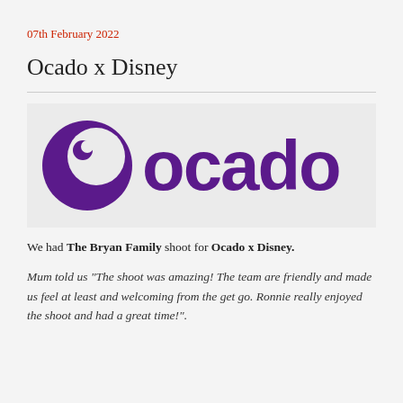07th February 2022
Ocado x Disney
[Figure (logo): Ocado logo in purple — a crescent/swirl symbol followed by the word 'ocado' in lowercase purple letters]
We had The Bryan Family shoot for Ocado x Disney.
Mum told us "The shoot was amazing! The team are friendly and made us feel at least and welcoming from the get go. Ronnie really enjoyed the shoot and had a great time!".